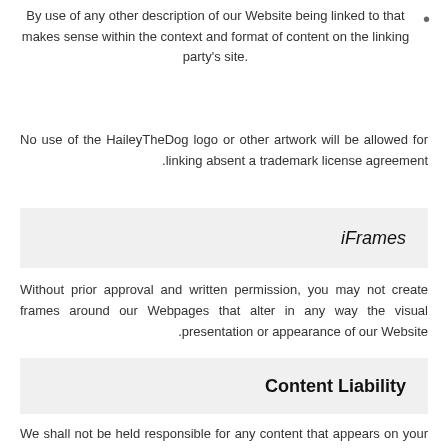By use of any other description of our Website being linked to that makes sense within the context and format of content on the linking party's site.
No use of the HaileyTheDog logo or other artwork will be allowed for linking absent a trademark license agreement.
iFrames
Without prior approval and written permission, you may not create frames around our Webpages that alter in any way the visual presentation or appearance of our Website.
Content Liability
We shall not be held responsible for any content that appears on your Website. You agree to protect and defend us against all claims that are rising on your Website. No link(s) should appear on any Website that may be interpreted as